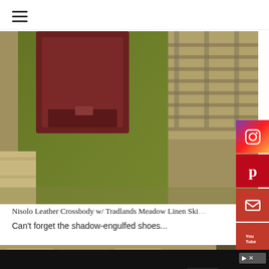[Figure (photo): Person wearing olive green linen skirt and carrying a dark burgundy leather crossbody bag, standing near railway tracks]
Nisolo Leather Crossbody w/ Tradlands Meadow Linen Ski...
Can't forget the shadow-engulfed shoes...
[Figure (photo): Partial view of ground/pavement area with shoes in shadow]
[Figure (screenshot): Advertisement banner: Download Helbiz and ride, showing a scooter]